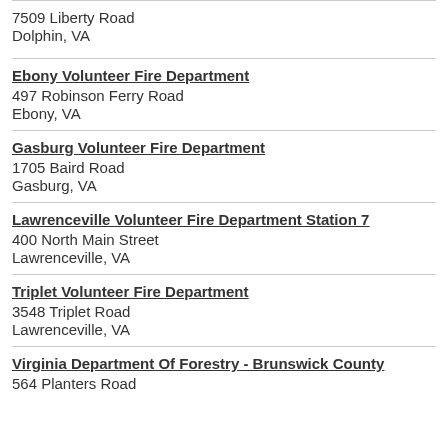7509 Liberty Road
Dolphin, VA
Ebony Volunteer Fire Department
497 Robinson Ferry Road
Ebony, VA
Gasburg Volunteer Fire Department
1705 Baird Road
Gasburg, VA
Lawrenceville Volunteer Fire Department Station 7
400 North Main Street
Lawrenceville, VA
Triplet Volunteer Fire Department
3548 Triplet Road
Lawrenceville, VA
Virginia Department Of Forestry - Brunswick County
564 Planters Road